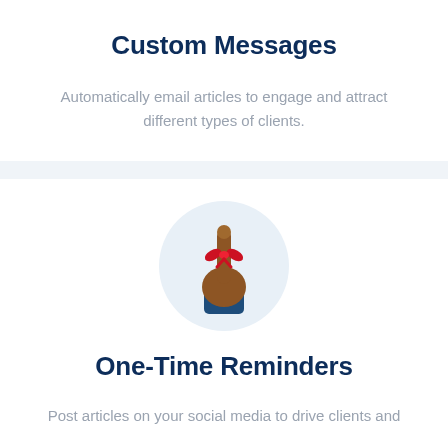Custom Messages
Automatically email articles to engage and attract different types of clients.
[Figure (illustration): A hand with index finger pointing up and a red bow tied around the finger, inside a light blue circle. Represents reminders or memory.]
One-Time Reminders
Post articles on your social media to drive clients and